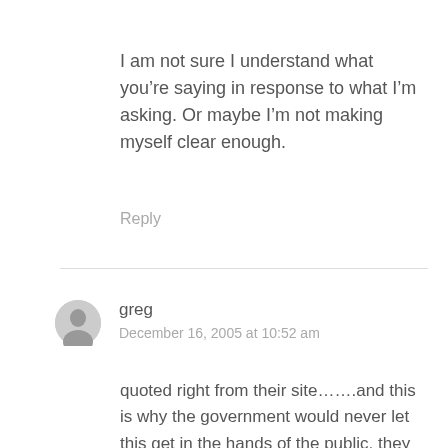I am not sure I understand what you're saying in response to what I'm asking. Or maybe I'm not making myself clear enough.
Reply
greg
December 16, 2005 at 10:52 am
quoted right from their site…….and this is why the government would never let this get in the hands of the public, they want the monopoly all for